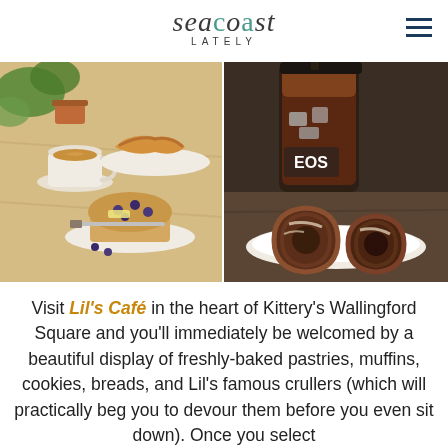Seacoast Lately
[Figure (photo): Left photo: Coffee latte with latte art, croissant on plate, and blueberry muffin with knife on white plate, on a light wood table with green plant in background]
[Figure (photo): Right photo: Large iced coffee drink in clear plastic cup with EOS branding, and two glazed chocolate crullers on a white plate]
Visit Lil's Café in the heart of Kittery's Wallingford Square and you'll immediately be welcomed by a beautiful display of freshly-baked pastries, muffins, cookies, breads, and Lil's famous crullers (which will practically beg you to devour them before you even sit down). Once you select